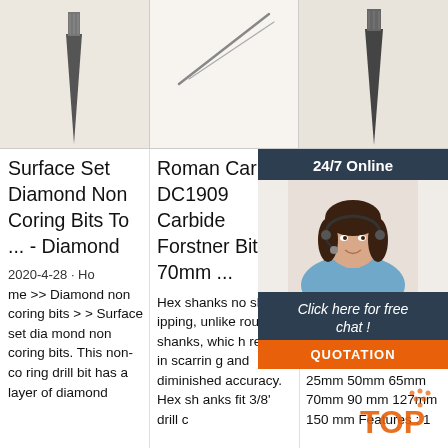[Figure (photo): Three product photos at top: drill bit, needle/pin tool, and another drill bit on light backgrounds]
Surface Set Diamond Non Coring Bits To ... - Diamond
2020-4-28 · Home >> Diamond non coring bits >> Surface set diamond non coring bits. This non-coring drill bit has a layer of diamond
Roman Carbide DC1909 Carbide Forstner Bit 70mm ...
Hex shanks no slipping, unlike round shanks, which result in scarring and diminished accuracy. Hex shanks fit 3/8' drill c
7P... An... Ele... Sc... Bit...
[Figure (photo): 24/7 Online chat widget with photo of woman with headset, and QUOTATION button]
New... Ant... Scr... Set Bits Hex Shank 25mm 50mm 65mm 70mm 90mm 127mm 150mm Features : 1
TOP